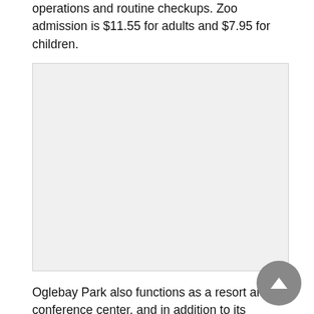operations and routine checkups. Zoo admission is $11.55 for adults and $7.95 for children.
[Figure (photo): A placeholder image area (light gray rectangle) representing a photo related to Oglebay Park zoo or grounds.]
Oglebay Park also functions as a resort and conference center, and in addition to its fantastic zoo, it is home to a variety of activities available at one's fingertips. Whether it is a visit to Oglebay Mansion Museum, a stroll through Bissonnette Gardens, or sports activities such as golf, tennis, horseback riding, swimming, and walking or hiking one of many trails, this